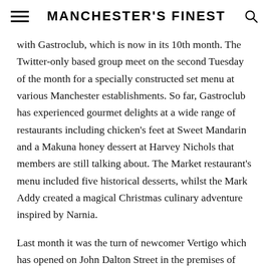MANCHESTER'S FINEST
with Gastroclub, which is now in its 10th month. The Twitter-only based group meet on the second Tuesday of the month for a specially constructed set menu at various Manchester establishments. So far, Gastroclub has experienced gourmet delights at a wide range of restaurants including chicken's feet at Sweet Mandarin and a Makuna honey dessert at Harvey Nichols that members are still talking about. The Market restaurant's menu included five historical desserts, whilst the Mark Addy created a magical Christmas culinary adventure inspired by Narnia.
Last month it was the turn of newcomer Vertigo which has opened on John Dalton Street in the premises of what was formerly Ithica. They describe their style as 'modern elegant food with seasonal menus that will please and delight the